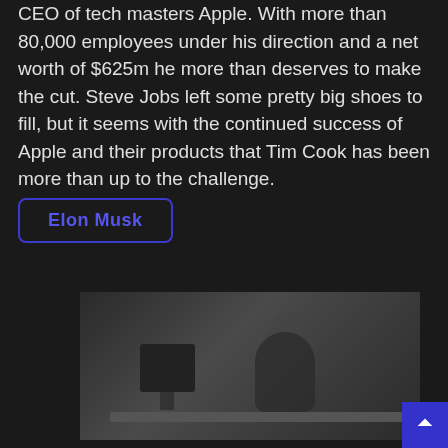CEO of tech masters Apple. With more than 80,000 employees under his direction and a net worth of $625m he more than deserves to make the cut. Steve Jobs left some pretty big shoes to fill, but it seems with the continued success of Apple and their products that Tim Cook has been more than up to the challenge.
Elon Musk
[Figure (photo): Dark photograph of a person in business attire sitting at a desk with a computer monitor, viewed from the side in a dimly lit setting]